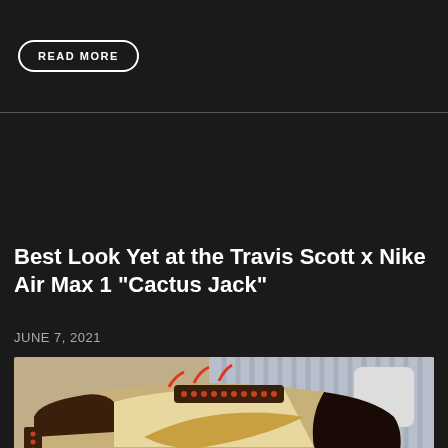READ MORE
Best Look Yet at the Travis Scott x Nike Air Max 1 "Cactus Jack"
JUNE 7, 2021
[Figure (photo): Travis Scott x Nike Air Max 1 Cactus Jack sneaker photographed from the side, showing brown, tan/wheat colorway with red/orange laces and Nike swoosh, displayed on a white surface]